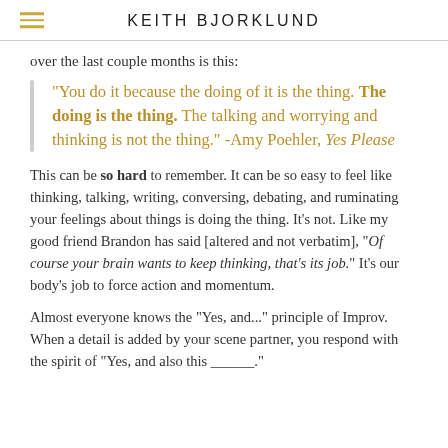KEITH BJORKLUND
over the last couple months is this:
“You do it because the doing of it is the thing. The doing is the thing. The talking and worrying and thinking is not the thing.” -Amy Poehler, Yes Please
This can be so hard to remember. It can be so easy to feel like thinking, talking, writing, conversing, debating, and ruminating your feelings about things is doing the thing. It’s not. Like my good friend Brandon has said [altered and not verbatim], “Of course your brain wants to keep thinking, that’s its job.” It’s our body’s job to force action and momentum.
Almost everyone knows the “Yes, and...” principle of Improv. When a detail is added by your scene partner, you respond with the spirit of “Yes, and also this ______.”